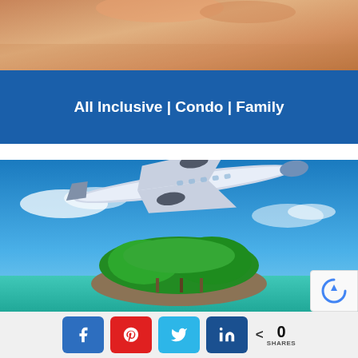[Figure (photo): Beach photo showing person lying on sand, feet visible, warm sandy colors]
All Inclusive | Condo | Family
[Figure (photo): Airplane flying over a tropical island with palm trees surrounded by turquoise water and blue sky with clouds]
[Figure (other): reCAPTCHA badge in bottom right corner]
Social share buttons: Facebook, Pinterest, Twitter, LinkedIn with 0 SHARES count